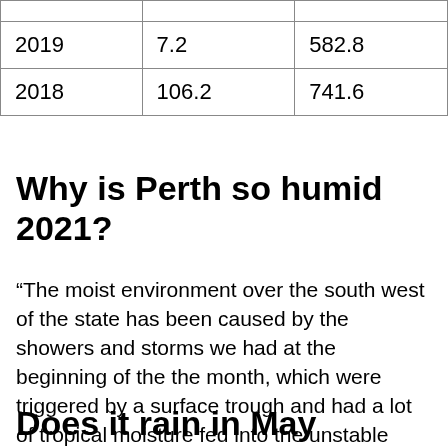| 2019 | 7.2 | 582.8 |
| 2018 | 106.2 | 741.6 |
Why is Perth so humid 2021?
“The moist environment over the south west of the state has been caused by the showers and storms we had at the beginning of the the month, which were triggered by a surface trough and had a lot of tropical moisture fed into the unstable environment,” he said.
Does it rain in May Perth?